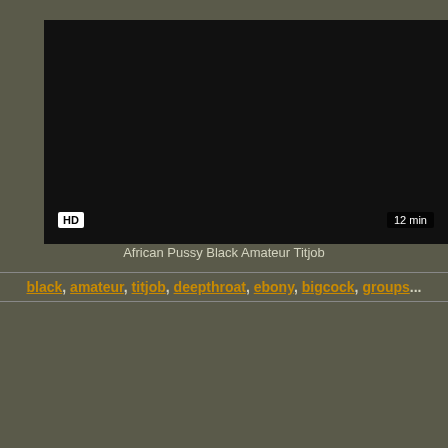[Figure (screenshot): Video thumbnail — black/dark rectangle with HD badge at bottom-left and 12 min duration badge at bottom-right]
African Pussy Black Amateur Titjob
black, amateur, titjob, deepthroat, ebony, bigcock, groups...
[Figure (screenshot): Second video thumbnail — black/dark rectangle]